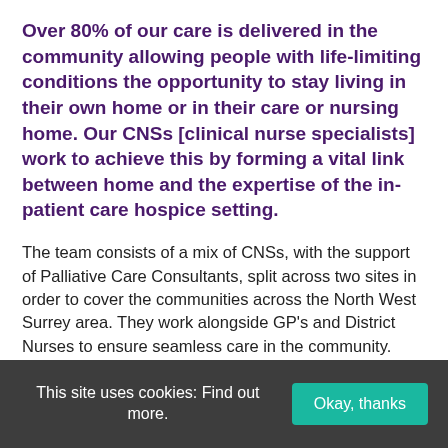Over 80% of our care is delivered in the community allowing people with life-limiting conditions the opportunity to stay living in their own home or in their care or nursing home. Our CNSs [clinical nurse specialists] work to achieve this by forming a vital link between home and the expertise of the in-patient care hospice setting.
The team consists of a mix of CNSs, with the support of Palliative Care Consultants, split across two sites in order to cover the communities across the North West Surrey area. They work alongside GP's and District Nurses to ensure seamless care in the community. They visit any care setting, in patient homes, or a nursing or care home, and they accept referrals based on need rather than diagnosis. They visit patients seven days a week and to support this the hospice
This site uses cookies: Find out more.
Okay, thanks